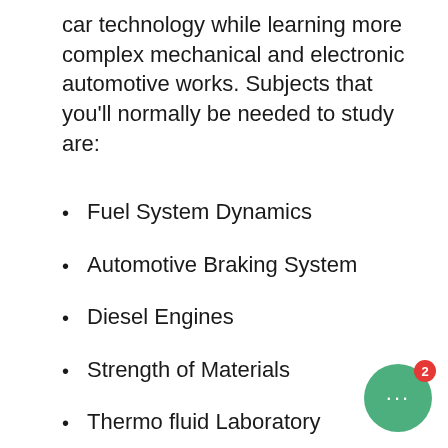car technology while learning more complex mechanical and electronic automotive works. Subjects that you'll normally be needed to study are:
Fuel System Dynamics
Automotive Braking System
Diesel Engines
Strength of Materials
Thermo fluid Laboratory
Thermo fluid
Turbochargers and Emissions